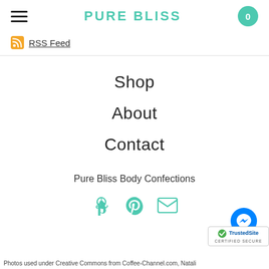PURE BLISS
RSS Feed
Shop
About
Contact
Pure Bliss Body Confections
[Figure (infographic): Pinterest and email social icons in teal color]
[Figure (illustration): Facebook Messenger button (blue circle with white lightning bolt)]
[Figure (logo): TrustedSite Certified Secure badge]
Photos used under Creative Commons from Coffee-Channel.com, Natali